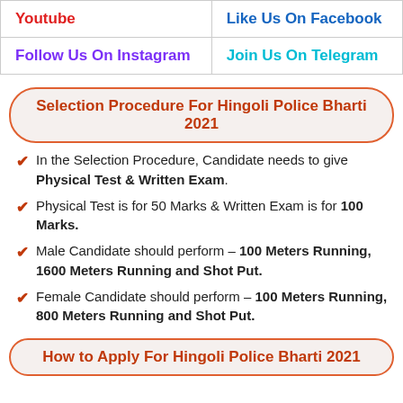| Youtube | Like Us On Facebook |
| Follow Us On Instagram | Join Us On Telegram |
Selection Procedure For Hingoli Police Bharti 2021
In the Selection Procedure, Candidate needs to give Physical Test & Written Exam.
Physical Test is for 50 Marks & Written Exam is for 100 Marks.
Male Candidate should perform – 100 Meters Running, 1600 Meters Running and Shot Put.
Female Candidate should perform – 100 Meters Running, 800 Meters Running and Shot Put.
How to Apply For Hingoli Police Bharti 2021